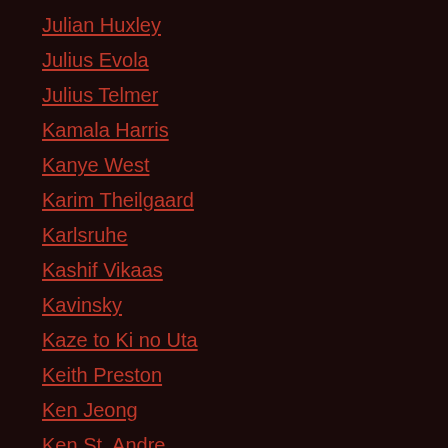Julian Huxley
Julius Evola
Julius Telmer
Kamala Harris
Kanye West
Karim Theilgaard
Karlsruhe
Kashif Vikaas
Kavinsky
Kaze to Ki no Uta
Keith Preston
Ken Jeong
Ken St. Andre
Kerry Bolton
Kevin Kautzman